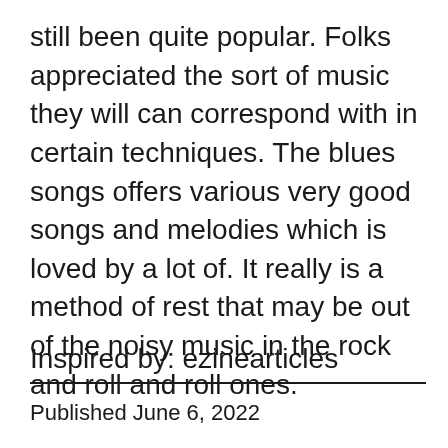still been quite popular. Folks appreciated the sort of music they will can correspond with in certain techniques. The blues songs offers various very good songs and melodies which is loved by a lot of. It really is a method of rest that may be out of the noisy music in the rock and roll and roll ones.
Inspired by: ezinearticles
Published June 6, 2022